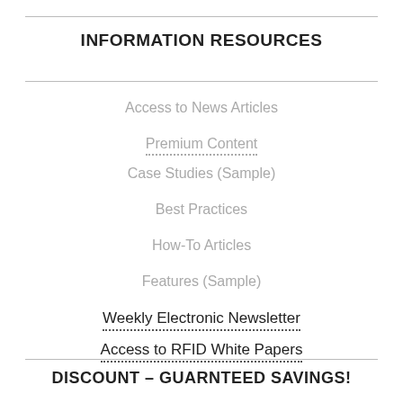INFORMATION RESOURCES
Access to News Articles
Premium Content
Case Studies (Sample)
Best Practices
How-To Articles
Features (Sample)
Weekly Electronic Newsletter
Access to RFID White Papers
DISCOUNT – GUARNTEED SAVINGS!